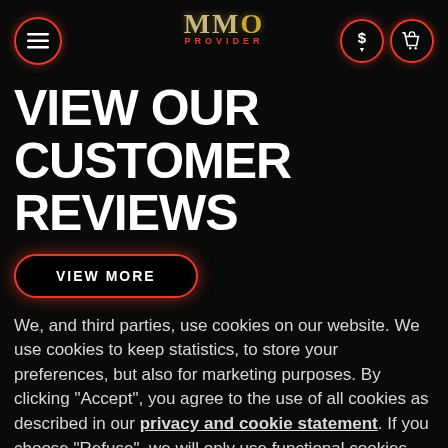MMO PROVIDER navigation header with menu, logo, currency and cart icons
VIEW OUR CUSTOMER REVIEWS
VIEW MORE
We, and third parties, use cookies on our website. We use cookies to keep statistics, to store your preferences, but also for marketing purposes. By clicking "Accept", you agree to the use of all cookies as described in our privacy and cookie statement. If you choose "Refuse", we will only use functional cookies.
ACCEPT   REFUSE